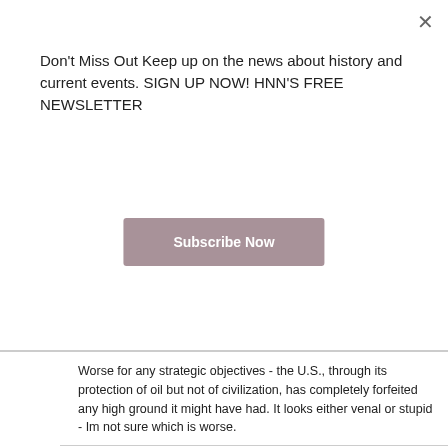Don't Miss Out Keep up on the news about history and current events. SIGN UP NOW! HNN'S FREE NEWSLETTER
Subscribe Now
Worse for any strategic objectives - the U.S., through its protection of oil but not of civilization, has completely forfeited any high ground it might have had. It looks either venal or stupid - Im not sure which is worse.
Phil Cavalier - 4/18/2003
At a recent press conference, Secretary of Defense Rumsfeld said: "But certainly the targeting people, (the military) were well aware of where it, (the Baghdad Museum), was and they certainly avoided targeting it. Whatever damage that was done